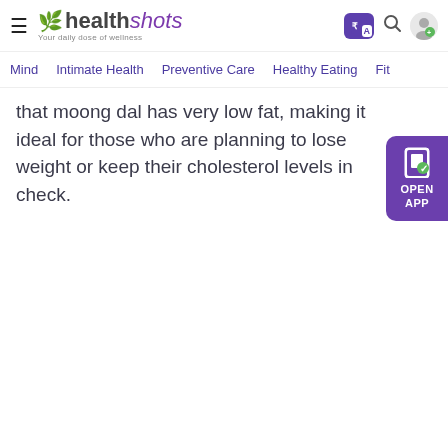healthshots — Your daily dose of wellness | Mind | Intimate Health | Preventive Care | Healthy Eating | Fit...
that moong dal has very low fat, making it ideal for those who are planning to lose weight or keep their cholesterol levels in check.